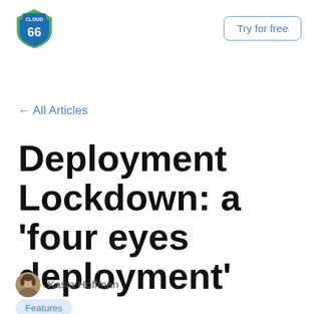Cloud 66 | Try for free
← All Articles
Deployment Lockdown: a 'four eyes deployment'
Kasia Hoffman
Features